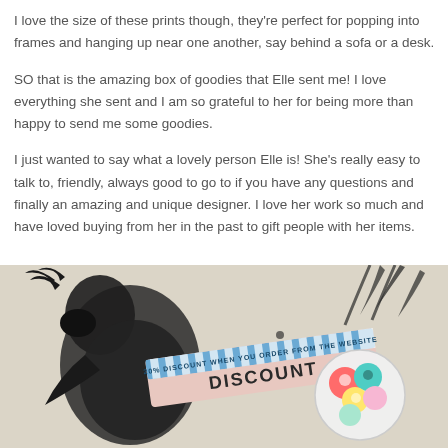I love the size of these prints though, they're perfect for popping into frames and hanging up near one another, say behind a sofa or a desk.
SO that is the amazing box of goodies that Elle sent me! I love everything she sent and I am so grateful to her for being more than happy to send me some goodies.
I just wanted to say what a lovely person Elle is! She's really easy to talk to, friendly, always good to go to if you have any questions and finally an amazing and unique designer. I love her work so much and have loved buying from her in the past to gift people with her items.
[Figure (photo): A photo showing a fabric/textile with black illustrated bird and bamboo leaf design print. On top sits a blue and white striped discount card/coupon reading '20% DISCOUNT WHEN YOU ORDER FROM THE WEBSITE' and a circular cluster of colorful stickers featuring animal and cartoon designs.]